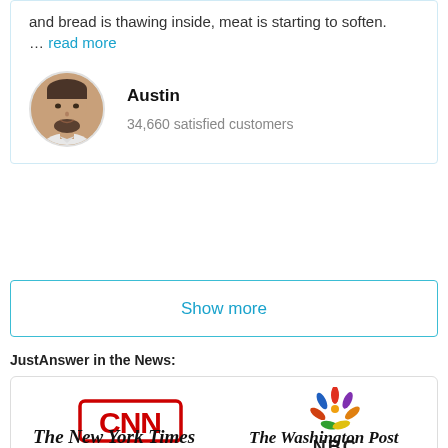and bread is thawing inside, meat is starting to soften. ... read more
Austin
34,660 satisfied customers
Show more
JustAnswer in the News:
[Figure (logo): CNN logo (red bold text with red border rectangle)]
[Figure (logo): NBC logo with colorful peacock feather icon and NBC text below]
[Figure (logo): The New York Times logo in serif blackletter font]
[Figure (logo): The Washington Post logo in serif blackletter font]